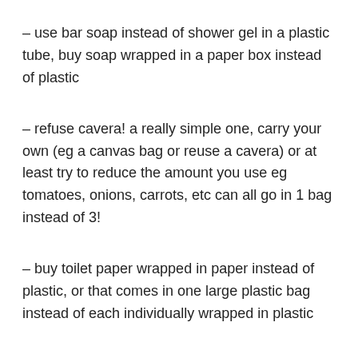– use bar soap instead of shower gel in a plastic tube, buy soap wrapped in a paper box instead of plastic
– refuse cavera! a really simple one, carry your own (eg a canvas bag or reuse a cavera) or at least try to reduce the amount you use eg tomatoes, onions, carrots, etc can all go in 1 bag instead of 3!
– buy toilet paper wrapped in paper instead of plastic, or that comes in one large plastic bag instead of each individually wrapped in plastic